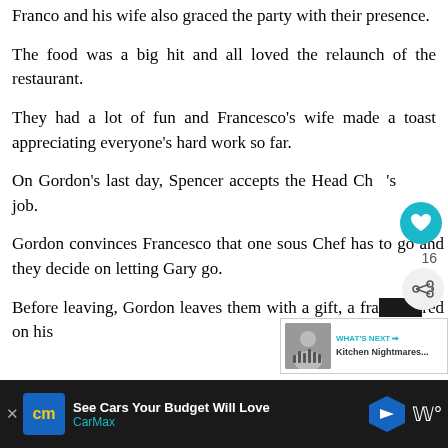Franco and his wife also graced the party with their presence.
The food was a big hit and all loved the relaunch of the restaurant.
They had a lot of fun and Francesco’s wife made a toast appreciating everyone’s hard work so far.
On Gordon’s last day, Spencer accepts the Head Chef’s job.
Gordon convinces Francesco that one sous Chef has to go and they decide on letting Gary go.
Before leaving, Gordon leaves them with a gift, a fra... ...red on his